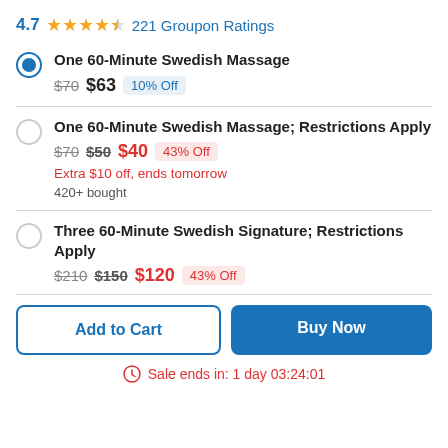4.7 ★★★★½ 221 Groupon Ratings
One 60-Minute Swedish Massage — $70 $63 10% Off
One 60-Minute Swedish Massage; Restrictions Apply — $70 $50 $40 43% Off — Extra $10 off, ends tomorrow — 420+ bought
Three 60-Minute Swedish Signature; Restrictions Apply — $210 $150 $120 43% Off
Add to Cart | Buy Now
Sale ends in: 1 day 03:24:01